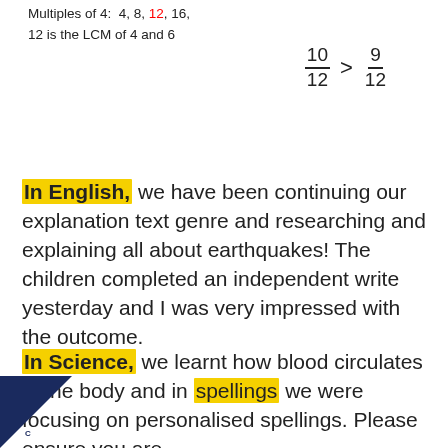Multiples of 4: 4, 8, 12, 16,
12 is the LCM of 4 and 6
In English, we have been continuing our explanation text genre and researching and explaining all about earthquakes! The children completed an independent write yesterday and I was very impressed with the outcome.
In Science, we learnt how blood circulates in the body and in spellings we were focusing on personalised spellings. Please ensure you are testing your children on their personalised spellings each week ready for a test on a Friday!
[Figure (logo): Bottom-left corner logo: dark blue triangle with white star/badge icon and letter C]